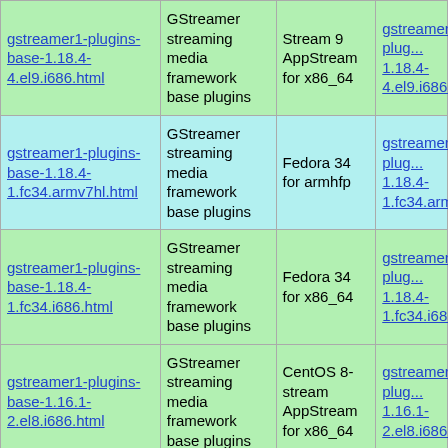| Package | Description | Distribution | Link |
| --- | --- | --- | --- |
| gstreamer1-plugins-base-1.18.4-4.el9.i686.html | GStreamer streaming media framework base plugins | Stream 9 AppStream for x86_64 | gstreamer1-plug... 1.18.4-4.el9.i686... |
| gstreamer1-plugins-base-1.18.4-1.fc34.armv7hl.html | GStreamer streaming media framework base plugins | Fedora 34 for armhfp | gstreamer1-plug... 1.18.4-1.fc34.armv7hl.r... |
| gstreamer1-plugins-base-1.18.4-1.fc34.i686.html | GStreamer streaming media framework base plugins | Fedora 34 for x86_64 | gstreamer1-plug... 1.18.4-1.fc34.i68... |
| gstreamer1-plugins-base-1.16.1-2.el8.i686.html | GStreamer streaming media framework base plugins | CentOS 8-stream AppStream for x86_64 | gstreamer1-plug... 1.16.1-2.el8.i686... |
|  | GStreamer streaming | CentOS ... |  |